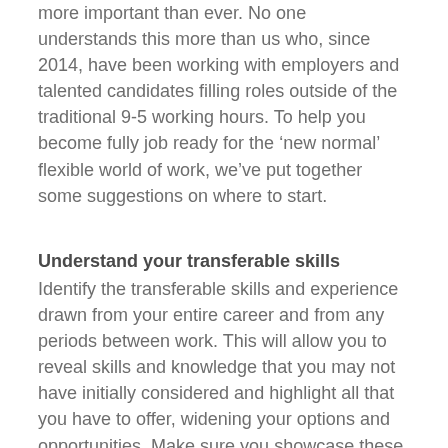more important than ever. No one understands this more than us who, since 2014, have been working with employers and talented candidates filling roles outside of the traditional 9-5 working hours. To help you become fully job ready for the ‘new normal’ flexible world of work, we’ve put together some suggestions on where to start.
Understand your transferable skills
Identify the transferable skills and experience drawn from your entire career and from any periods between work. This will allow you to reveal skills and knowledge that you may not have initially considered and highlight all that you have to offer, widening your options and opportunities. Make sure you showcase these in your CV and